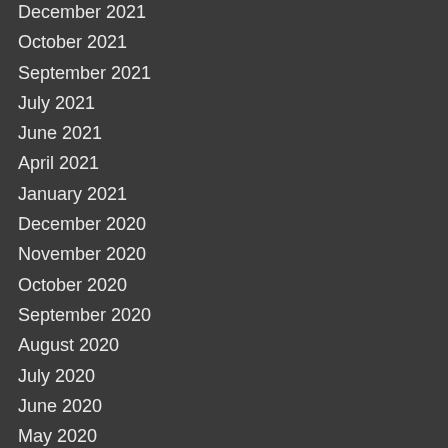December 2021
October 2021
September 2021
July 2021
June 2021
April 2021
January 2021
December 2020
November 2020
October 2020
September 2020
August 2020
July 2020
June 2020
May 2020
April 2020
February 2020
January 2020
December 2019
November 2019
October 2019